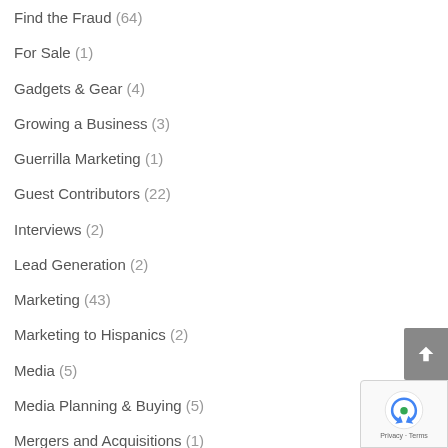Find the Fraud (64)
For Sale (1)
Gadgets & Gear (4)
Growing a Business (3)
Guerrilla Marketing (1)
Guest Contributors (22)
Interviews (2)
Lead Generation (2)
Marketing (43)
Marketing to Hispanics (2)
Media (5)
Media Planning & Buying (5)
Mergers and Acquisitions (1)